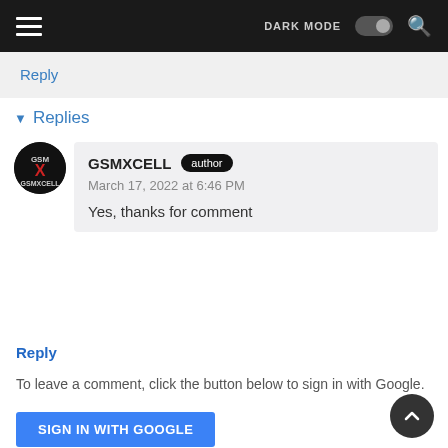DARK MODE [toggle] [search]
Reply
▼ Replies
[Figure (logo): GSMXCELL circular logo with red X on black background]
GSMXCELL author
March 17, 2022 at 6:46 PM
Yes, thanks for comment
Reply
To leave a comment, click the button below to sign in with Google.
SIGN IN WITH GOOGLE